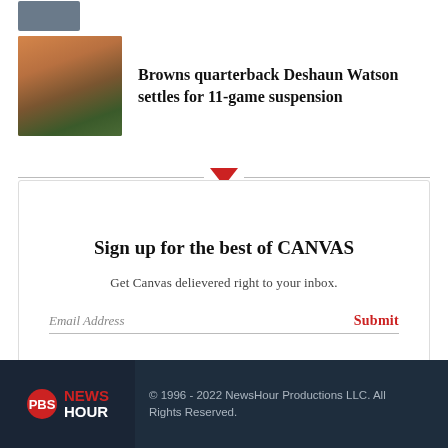[Figure (photo): Partial view of a person in a suit, top-left article thumbnail]
[Figure (photo): Cleveland Browns quarterback Deshaun Watson in orange uniform throwing football]
Browns quarterback Deshaun Watson settles for 11-game suspension
Sign up for the best of CANVAS
Get Canvas delievered right to your inbox.
Email Address
Submit
© 1996 - 2022 NewsHour Productions LLC. All Rights Reserved.